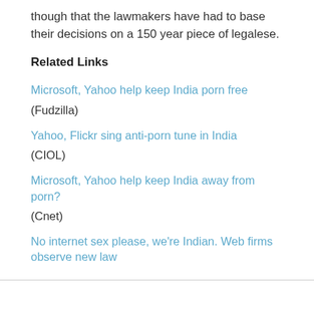though that the lawmakers have had to base their decisions on a 150 year piece of legalese.
Related Links
Microsoft, Yahoo help keep India porn free
(Fudzilla)
Yahoo, Flickr sing anti-porn tune in India
(CIOL)
Microsoft, Yahoo help keep India away from porn?
(Cnet)
No internet sex please, we're Indian. Web firms observe new law